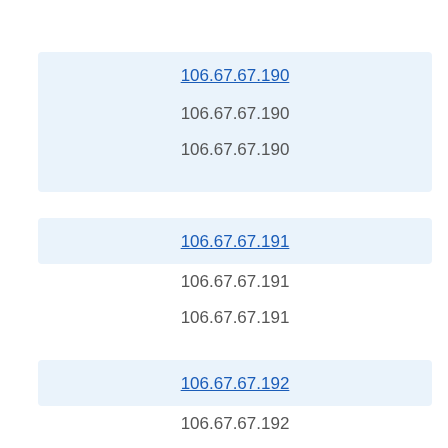106.67.67.190
106.67.67.190
106.67.67.190
106.67.67.191
106.67.67.191
106.67.67.191
106.67.67.192
106.67.67.192